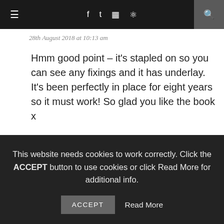≡  f  t  ☷  ⊕  🔍
28th August 2018 at 10:13 am
Hmm good point – it's stapled on so you can see any fixings and it has underlay. It's been perfectly in place for eight years so it must work! So glad you like the book x
MAX88
This website needs cookies to work correctly. Click the ACCEPT button to use cookies or click Read More for additional info.